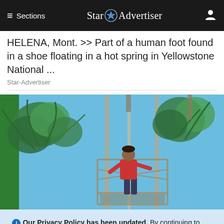≡ Sections  Star ✦ Advertiser  👤
HELENA, Mont. >> Part of a human foot found in a shoe floating in a hot spring in Yellowstone National ...
Star-Advertiser
[Figure (photo): Person standing on a metal scaffolding/crane platform surrounded by tropical palm trees against a blue sky]
ℹ Our Privacy Policy has been updated. By continuing to use our site, you are acknowledging and agreeing to our updated Privacy Policy and our Terms of Service. I Agree